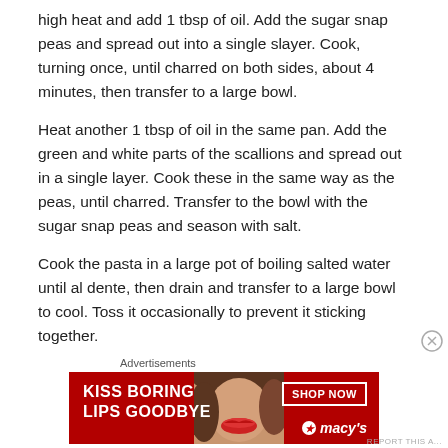high heat and add 1 tbsp of oil. Add the sugar snap peas and spread out into a single slayer. Cook, turning once, until charred on both sides, about 4 minutes, then transfer to a large bowl.
Heat another 1 tbsp of oil in the same pan. Add the green and white parts of the scallions and spread out in a single layer. Cook these in the same way as the peas, until charred. Transfer to the bowl with the sugar snap peas and season with salt.
Cook the pasta in a large pot of boiling salted water until al dente, then drain and transfer to a large bowl to cool. Toss it occasionally to prevent it sticking together.
Advertisements
[Figure (infographic): Macy's advertisement banner with red background, woman's face with red lips, text 'KISS BORING LIPS GOODBYE', 'SHOP NOW' button, and Macy's star logo]